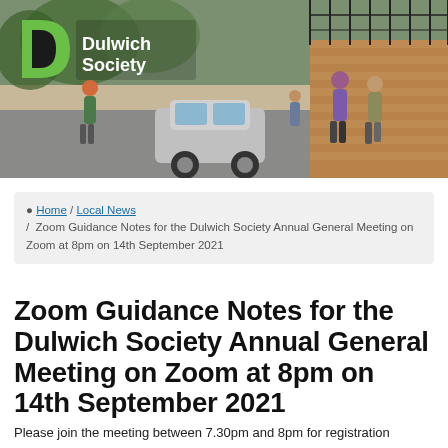[Figure (photo): Street scene photo showing pedestrians and a car on a road next to a brick wall, used as a banner header for the Dulwich Society website. The Dulwich Society logo (green D shape) and text 'Dulwich Society' appear overlaid on the left side of the photo.]
Home / Local News / Zoom Guidance Notes for the Dulwich Society Annual General Meeting on Zoom at 8pm on 14th September 2021
Zoom Guidance Notes for the Dulwich Society Annual General Meeting on Zoom at 8pm on 14th September 2021
Please join the meeting between 7.30pm and 8pm for registration